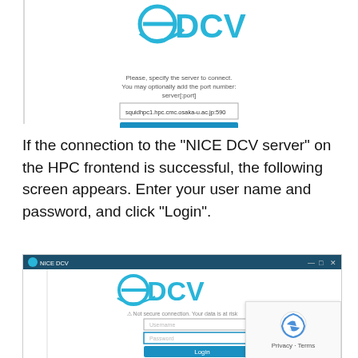[Figure (screenshot): NICE DCV application window showing server connection dialog with a text field containing 'squidhpc1.hpc.cmc.osaka-u.ac.jp:590', a blue Connect button, and a Connection Settings link. The DCV logo is at the top.]
If the connection to the "NICE DCV server" on the HPC frontend is successful, the following screen appears. Enter your user name and password, and click "Login".
[Figure (screenshot): NICE DCV application window showing login screen with the NICE DCV logo, a 'Not secure connection. Your data is at risk' warning, Username and Password input fields, and a Login button. A reCAPTCHA Privacy/Terms badge appears in the bottom right corner.]